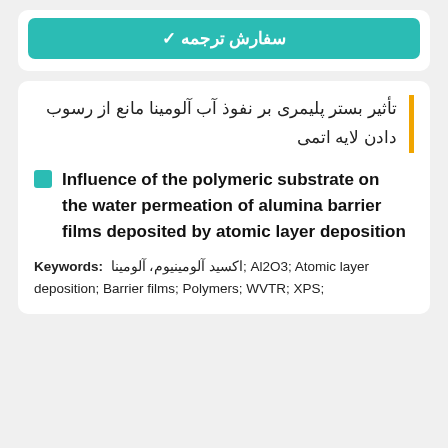✓ سفارش ترجمه
تأثیر بستر پلیمری بر نفوذ آب آلومینا مانع از رسوب دادن لایه اتمی
Influence of the polymeric substrate on the water permeation of alumina barrier films deposited by atomic layer deposition
Keywords: اکسید آلومینیوم، آلومینا; Al2O3; Atomic layer deposition; Barrier films; Polymers; WVTR; XPS;